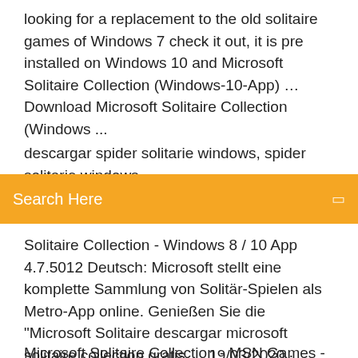looking for a replacement to the old solitaire games of Windows 7 check it out, it is pre installed on Windows 10 and Microsoft Solitaire Collection (Windows-10-App) … Download Microsoft Solitaire Collection (Windows ...
descargar spider solitarie windows, spider solitarie windows,
Search Here
Solitaire Collection - Windows 8 / 10 App 4.7.5012 Deutsch: Microsoft stellt eine komplette Sammlung von Solitär-Spielen als Metro-App online. Genießen Sie die "Microsoft Solitaire descargar microsoft solitaire collection gratis … 19/03/2020 · descargar microsoft solitaire collection android, microsoft solitaire collection android, microsoft solitaire collection android descargar gratis Microsoft Solitaire Collection | Jogos | Download | …
Microsoft Solitaire Collection - MSN Games - Free … The best